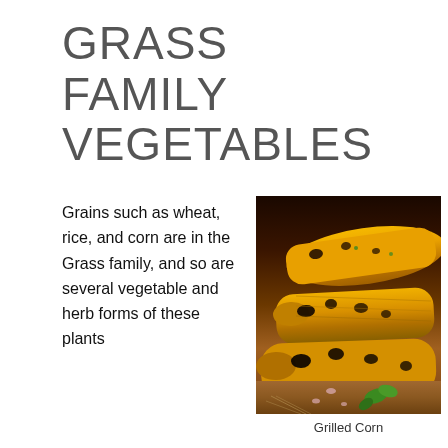GRASS FAMILY VEGETABLES
Grains such as wheat, rice, and corn are in the Grass family, and so are several vegetable and herb forms of these plants
[Figure (photo): Photo of grilled corn on the cob on a wooden board with herbs and salt, close-up view]
Grilled Corn